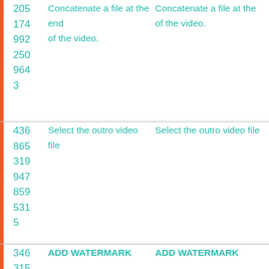|  | ID | Column 1 | Column 2 |
| --- | --- | --- | --- |
|  | 205 | of the video. | of the video. |
|  | 174 |  |  |
|  | 992 |  |  |
|  | 250 |  |  |
|  | 964 |  |  |
|  | 3 |  |  |
|  | 436 | Select the outro video file | Select the outro video file |
|  | 865 |  |  |
|  | 319 |  |  |
|  | 947 |  |  |
|  | 859 |  |  |
|  | 531 |  |  |
|  | 5 |  |  |
|  | 346 | ADD WATERMARK | ADD WATERMARK |
|  | 315 |  |  |
|  | 836 |  |  |
|  | 165 |  |  |
|  | 533 |  |  |